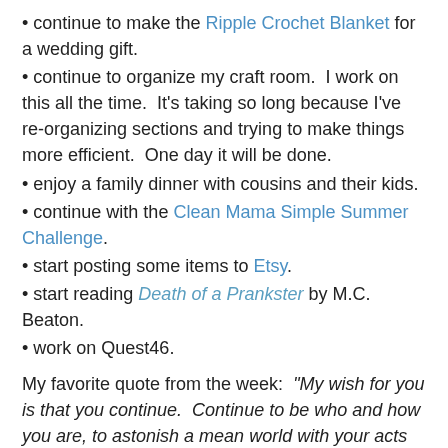• continue to make the Ripple Crochet Blanket for a wedding gift.
• continue to organize my craft room.  I work on this all the time.  It's taking so long because I've re-organizing sections and trying to make things more efficient.  One day it will be done.
• enjoy a family dinner with cousins and their kids.
• continue with the Clean Mama Simple Summer Challenge.
• start posting some items to Etsy.
• start reading Death of a Prankster by M.C. Beaton.
• work on Quest46.
My favorite quote from the week:  "My wish for you is that you continue.  Continue to be who and how you are, to astonish a mean world with your acts of kindness." Maya Angelou